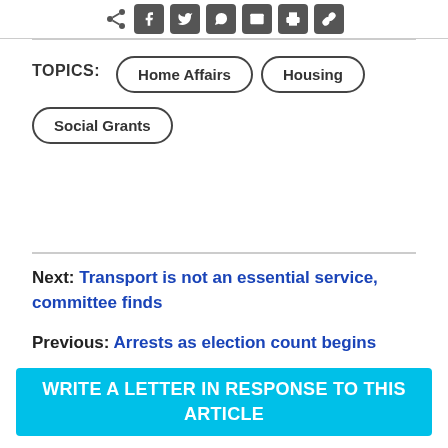[Figure (other): Social share icons row: share symbol followed by Facebook, Twitter, WhatsApp, Email, Print, and another icon buttons]
TOPICS: Home Affairs  Housing  Social Grants
Next:  Transport is not an essential service, committee finds
Previous:  Arrests as election count begins
WRITE A LETTER IN RESPONSE TO THIS ARTICLE